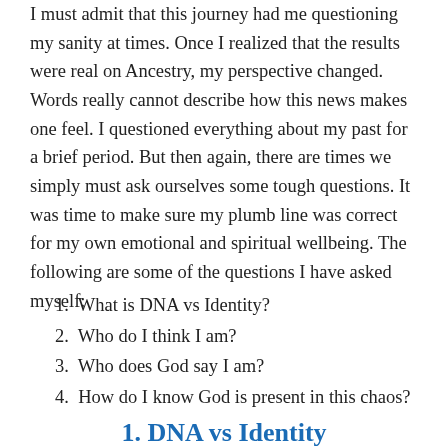I must admit that this journey had me questioning my sanity at times. Once I realized that the results were real on Ancestry, my perspective changed. Words really cannot describe how this news makes one feel. I questioned everything about my past for a brief period. But then again, there are times we simply must ask ourselves some tough questions. It was time to make sure my plumb line was correct for my own emotional and spiritual wellbeing. The following are some of the questions I have asked myself:
1.  What is DNA vs Identity?
2.  Who do I think I am?
3.  Who does God say I am?
4.  How do I know God is present in this chaos?
1. DNA vs Identity